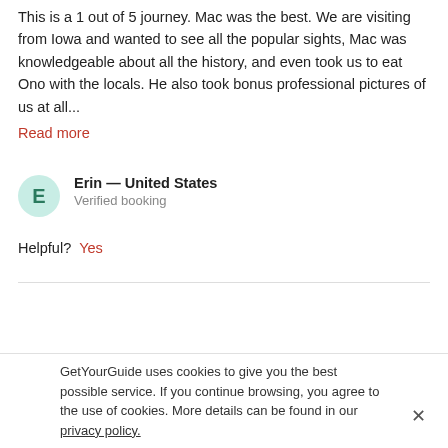This is a 1 out of 5 journey. Mac was the best. We are visiting from Iowa and wanted to see all the popular sights, Mac was knowledgeable about all the history, and even took us to eat Ono with the locals. He also took bonus professional pictures of us at all...
Read more
Erin — United States
Verified booking
Helpful? Yes
See more reviews
Product ID: 67591
United States › Hawaii › Things to do in Honolulu ›
GetYourGuide uses cookies to give you the best possible service. If you continue browsing, you agree to the use of cookies. More details can be found in our privacy policy.